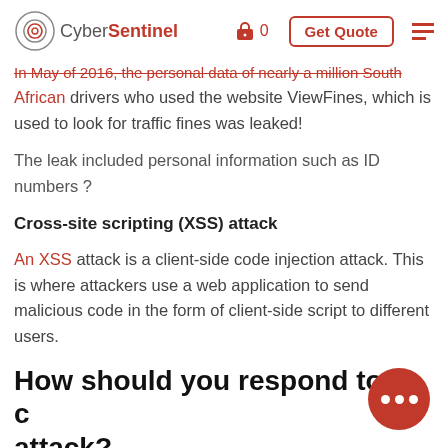CyberSentinel — 0 — Get Quote
In May of 2016, the personal data of nearly a million South African drivers who used the website ViewFines, which is used to look for traffic fines was leaked!
The leak included personal information such as ID numbers ?
Cross-site scripting (XSS) attack
An XSS attack is a client-side code injection attack. This is where attackers use a web application to send malicious code in the form of client-side script to different users.
How should you respond to a cyber attack?